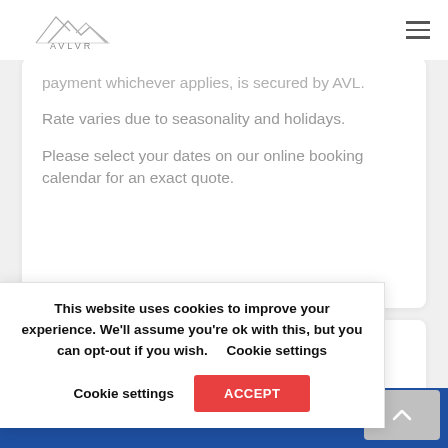AVLVR
payment whichever applies, is secured by AVL.
Rate varies due to seasonality and holidays.
Please select your dates on our online booking calendar for an exact quote.
This website uses cookies to improve your experience. We'll assume you're ok with this, but you can opt-out if you wish.    Cookie settings    ACCEPT